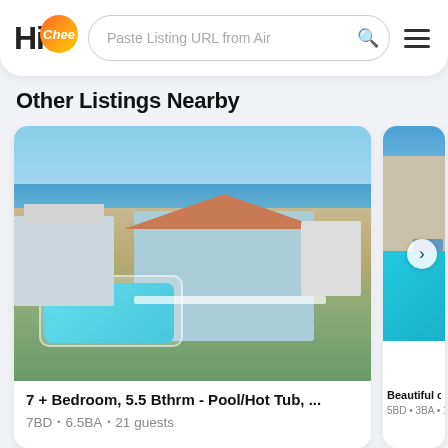HiChee — Paste Listing URL from Airbnb [search]
Other Listings Nearby
[Figure (photo): Aerial view of a large beach house with pool, hot tub, multi-level decks, ocean in background]
7 + Bedroom, 5.5 Bthrm - Pool/Hot Tub, ...
7BD • 6.5BA • 21 guests
[Figure (photo): Partial view of a beautiful oceanfront property with pool and lounge chairs]
Beautiful ocean